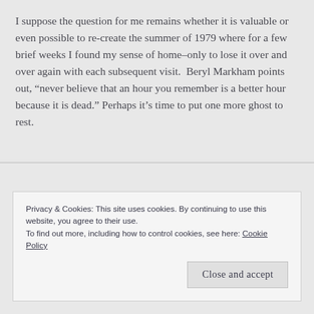I suppose the question for me remains whether it is valuable or even possible to re-create the summer of 1979 where for a few brief weeks I found my sense of home–only to lose it over and over again with each subsequent visit.  Beryl Markham points out, “never believe that an hour you remember is a better hour because it is dead.” Perhaps it’s time to put one more ghost to rest.
Privacy & Cookies: This site uses cookies. By continuing to use this website, you agree to their use.
To find out more, including how to control cookies, see here: Cookie Policy